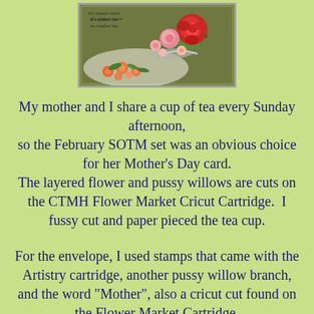[Figure (illustration): A vintage floral greeting card with a dark olive/green background, decorated with pink and red roses, smaller pink flowers, and green leaves. Small text on the card reads 'It's always there to comfort me.' The card has a grey-silver border.]
My mother and I share a cup of tea every Sunday afternoon, so the February SOTM set was an obvious choice for her Mother's Day card. The layered flower and pussy willows are cuts on the CTMH Flower Market Cricut Cartridge.  I fussy cut and paper pieced the tea cup.
For the envelope, I used stamps that came with the Artistry cartridge, another pussy willow branch, and the word "Mother", also a cricut cut found on the Flower Market Cartridge. I used the clear shimmer brush to add some interest to the flower and pussy willows. Hope you can see it.